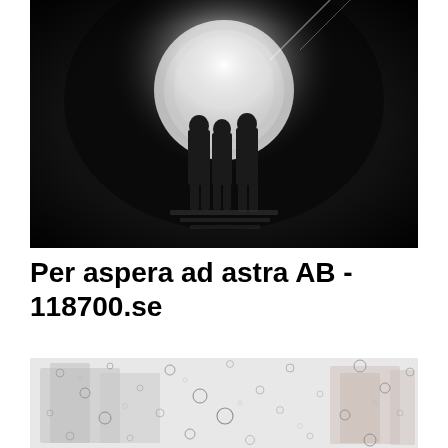[Figure (photo): Black and white photo of three silhouetted people standing in a dark tunnel with bright light visible behind them at the tunnel exit.]
Per aspera ad astra AB - 118700.se
[Figure (photo): Close-up photo of a rain-covered glass window with water droplets, showing blurred buildings in the background with a light grey/white sky.]